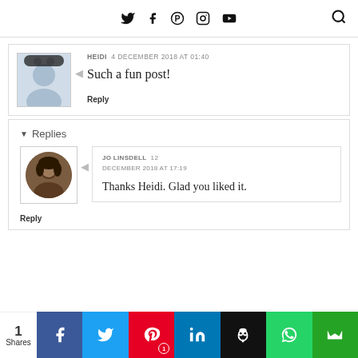Twitter Facebook Pinterest Instagram YouTube [search]
HEIDI 4 DECEMBER 2018 AT 01:40
Such a fun post!
Reply
▾ Replies
JO LINSDELL 12 DECEMBER 2018 AT 17:19
Thanks Heidi. Glad you liked it.
Reply
1 Shares [Facebook] [Twitter] [Pinterest 1] [LinkedIn] [Buffer] [WhatsApp] [Crown]